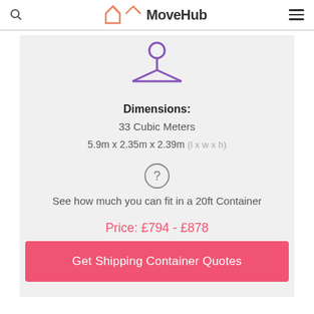MoveHub
[Figure (illustration): Purple icon of a person/hanger silhouette representing container size]
Dimensions: 33 Cubic Meters 5.9m x 2.35m x 2.39m (l x w x h)
[Figure (illustration): Question mark in a circle icon]
See how much you can fit in a 20ft Container
Price: £794 - £878
Get Shipping Container Quotes